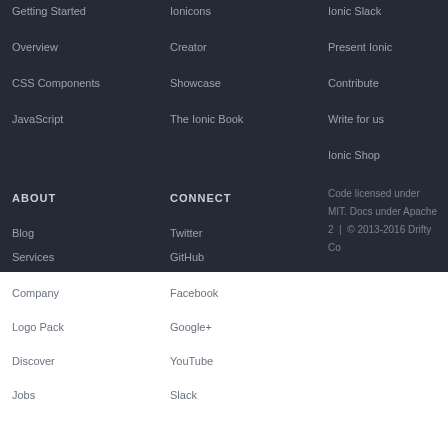Getting Started
Ionicons
Ionic Slack
Overview
Creator
Present Ionic
CSS Components
Showcase
Contribute
JavaScript
The Ionic Book
Write for us
Ionic Shop
ABOUT
CONNECT
Code licensed under MIT. Docs under Apache 2 | © 2013-2016 Drifty Co
Blog
Twitter
Services
GitHub
Company
Facebook
Logo Pack
Google+
Discover
YouTube
Jobs
Slack